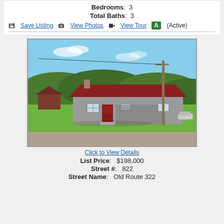Bedrooms: 3
Total Baths: 3
Save Listing   View Photos   View Tour   A (Active)
[Figure (photo): Exterior photo of a single-story ranch-style house with gray siding, red metal roof, red front door, set on a green lawn with trees in background and a utility pole on the right side.]
Click to View Details
List Price: $198,000
Street #: 822
Street Name: Old Route 322